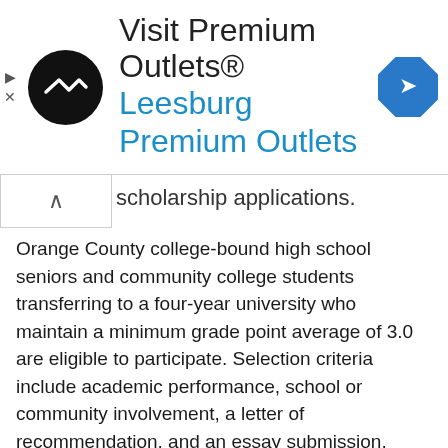[Figure (other): Advertisement banner for Premium Outlets - Leesburg Premium Outlets, with logo and navigation icon]
scholarship applications.
Orange County college-bound high school seniors and community college students transferring to a four-year university who maintain a minimum grade point average of 3.0 are eligible to participate. Selection criteria include academic performance, school or community involvement, a letter of recommendation, and an essay submission.
Interested students can find more information and apply online at ccu.com/studentscholarship. Online applications will be accepted through April 8, 2022. Recipients will be announced on May 2, 2022.
The California Credit Union Annual Student Scholarship program was created in 2005 to recognize outstanding students within local communities. To learn more, the credit